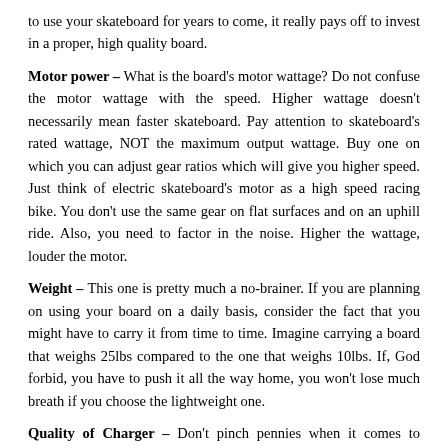to use your skateboard for years to come, it really pays off to invest in a proper, high quality board.
Motor power – What is the board's motor wattage? Do not confuse the motor wattage with the speed. Higher wattage doesn't necessarily mean faster skateboard. Pay attention to skateboard's rated wattage, NOT the maximum output wattage. Buy one on which you can adjust gear ratios which will give you higher speed. Just think of electric skateboard's motor as a high speed racing bike. You don't use the same gear on flat surfaces and on an uphill ride. Also, you need to factor in the noise. Higher the wattage, louder the motor.
Weight – This one is pretty much a no-brainer. If you are planning on using your board on a daily basis, consider the fact that you might have to carry it from time to time. Imagine carrying a board that weighs 25lbs compared to the one that weighs 10lbs. If, God forbid, you have to push it all the way home, you won't lose much breath if you choose the lightweight one.
Quality of Charger – Don't pinch pennies when it comes to battery chargers. A bad quality charger can 'fry' the batteries which in turn will shorten the skateboard's circuit and ...